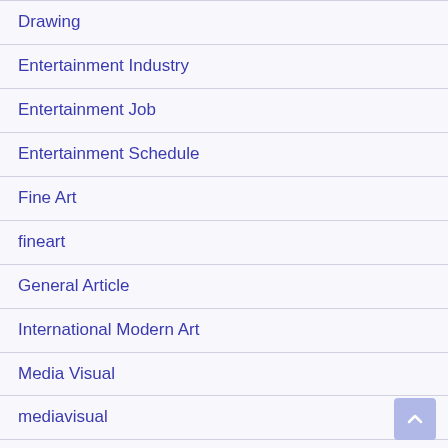Drawing
Entertainment Industry
Entertainment Job
Entertainment Schedule
Fine Art
fineart
General Article
International Modern Art
Media Visual
mediavisual
Movies
Music Melody
Music Rhytm